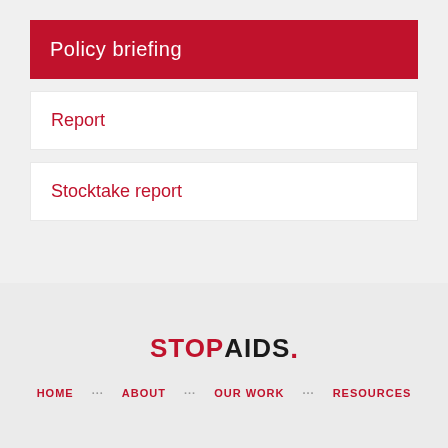Policy briefing
Report
Stocktake report
[Figure (logo): STOPAIDS. logo with STOP in red and AIDS in black, red dot at end]
HOME   ABOUT   OUR WORK   RESOURCES